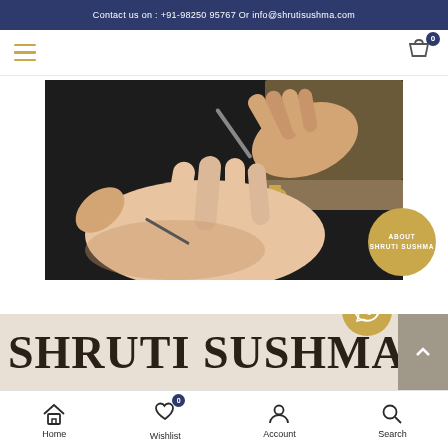Contact us on : +91-98250 95767  Or  info@shrutisushma.com
[Figure (screenshot): Website navigation bar with hamburger menu icon on left and shopping cart icon with badge '0' on right]
[Figure (photo): Close-up photo of hands working on crafting/setting a gold ring with a gemstone, held with tools over a jeweler's bench]
ABOUT SHRUTI SUSHMA
SHRUTI SUSHMA
[Figure (screenshot): Bottom navigation bar with Home, Wishlist (badge 0), Account, and Search icons]